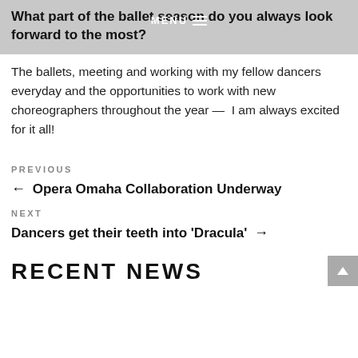What part of the ballet season do you always look forward to the most?
The ballets, meeting and working with my fellow dancers everyday and the opportunities to work with new choreographers throughout the year — I am always excited for it all!
PREVIOUS
← Opera Omaha Collaboration Underway
NEXT
Dancers get their teeth into 'Dracula' →
RECENT NEWS